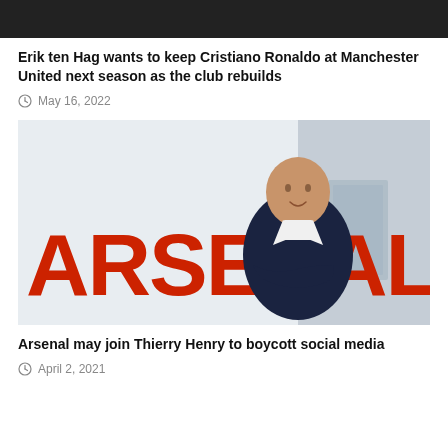[Figure (photo): Top partial image showing dark background, likely a person or scene cropped]
Erik ten Hag wants to keep Cristiano Ronaldo at Manchester United next season as the club rebuilds
May 16, 2022
[Figure (photo): Man in dark suit standing in front of a large Arsenal sign with red letters on a white wall]
Arsenal may join Thierry Henry to boycott social media
April 2, 2021